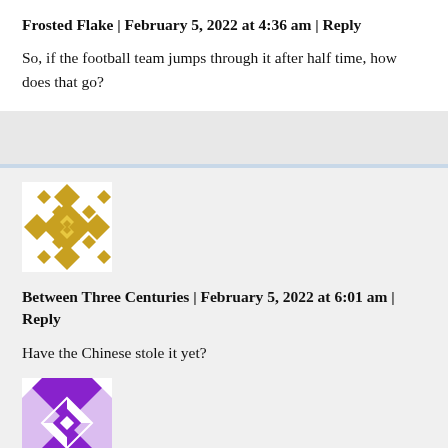Frosted Flake | February 5, 2022 at 4:36 am | Reply
So, if the football team jumps through it after half time, how does that go?
[Figure (illustration): Gold decorative geometric quilt pattern avatar icon]
Between Three Centuries | February 5, 2022 at 6:01 am | Reply
Have the Chinese stole it yet?
[Figure (illustration): Purple decorative geometric quilt pattern avatar icon]